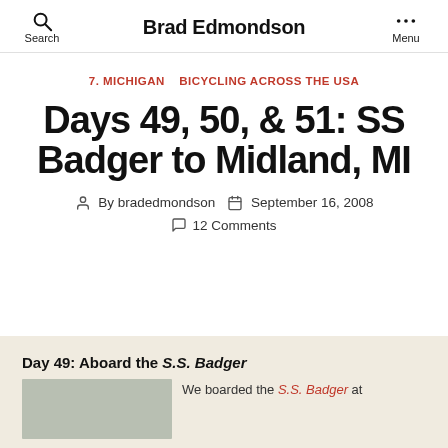Brad Edmondson
7. MICHIGAN   BICYCLING ACROSS THE USA
Days 49, 50, & 51: SS Badger to Midland, MI
By bradedmondson   September 16, 2008
12 Comments
Day 49: Aboard the S.S. Badger
We boarded the S.S. Badger at